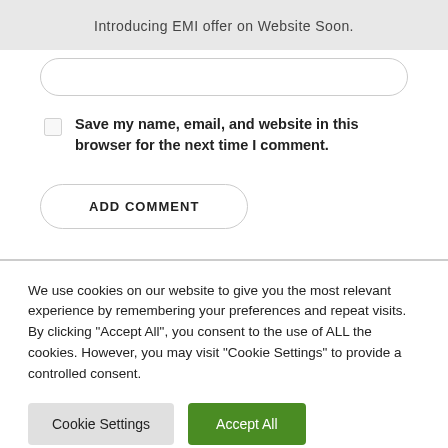Introducing EMI offer on Website Soon.
[Figure (other): Empty rounded input field]
Save my name, email, and website in this browser for the next time I comment.
ADD COMMENT
We use cookies on our website to give you the most relevant experience by remembering your preferences and repeat visits. By clicking "Accept All", you consent to the use of ALL the cookies. However, you may visit "Cookie Settings" to provide a controlled consent.
Cookie Settings
Accept All